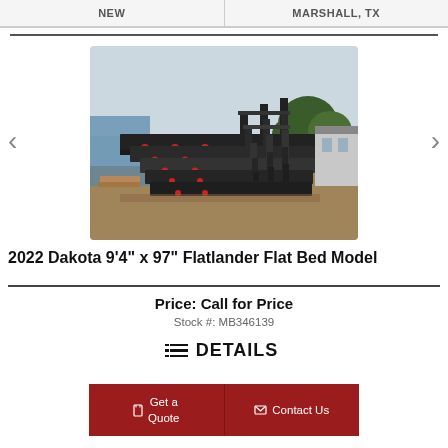NEW | MARSHALL, TX
[Figure (photo): Multiple black flat bed truck beds/models stacked and displayed outdoors in a yard with trees and buildings in background]
2022 Dakota 9'4" x 97" Flatlander Flat Bed Model
Price: Call for Price
Stock #: MB346139
DETAILS
Get a Quote
Contact Us